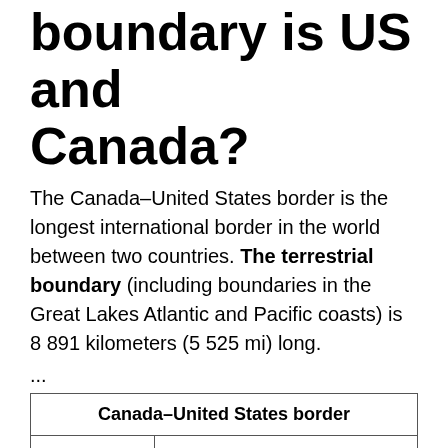boundary is US and Canada?
The Canada–United States border is the longest international border in the world between two countries. The terrestrial boundary (including boundaries in the Great Lakes Atlantic and Pacific coasts) is 8 891 kilometers (5 525 mi) long.
...
| Canada–United States border |
| --- |
| Notes | See list of current disputes |
What are two common types of